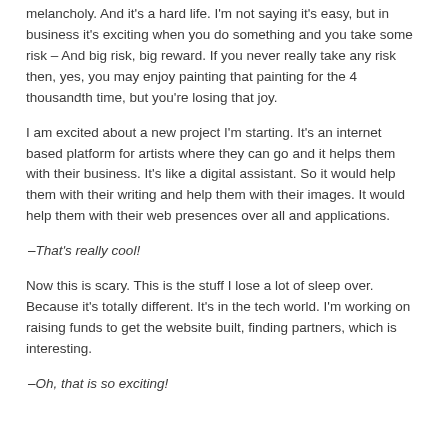melancholy. And it's a hard life. I'm not saying it's easy, but in business it's exciting when you do something and you take some risk – And big risk, big reward. If you never really take any risk then, yes, you may enjoy painting that painting for the 4 thousandth time, but you're losing that joy.
I am excited about a new project I'm starting. It's an internet based platform for artists where they can go and it helps them with their business. It's like a digital assistant. So it would help them with their writing and help them with their images. It would help them with their web presences over all and applications.
–That's really cool!
Now this is scary. This is the stuff I lose a lot of sleep over. Because it's totally different. It's in the tech world. I'm working on raising funds to get the website built, finding partners, which is interesting.
–Oh, that is so exciting!